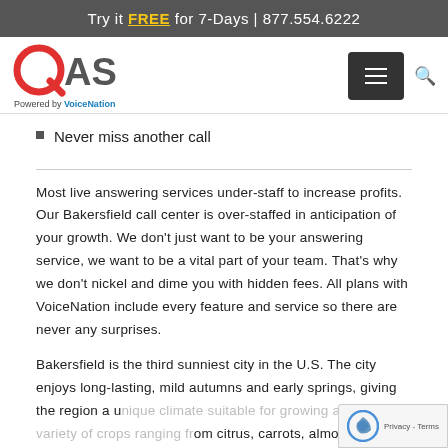Try it FREE for 7-Days | 877.554.6222
[Figure (logo): QAS logo with red Q icon and gray AS text, Powered by VoiceNation subtitle]
Reports to analyze usage
All-Inclusive pricing
Never miss another call
Most live answering services under-staff to increase profits. Our Bakersfield call center is over-staffed in anticipation of your growth. We don't just want to be your answering service, we want to be a vital part of your team. That's why we don't nickel and dime you with hidden fees. All plans with VoiceNation include every feature and service so there are never any surprises.
Bakersfield is the third sunniest city in the U.S. The city enjoys long-lasting, mild autumns and early springs, giving the region a unique climate suitable for growing a wide variety of crops ranging from citrus, carrots, almonds and pistachios). The city averages just inches of rainfall each year and typically no rain falls from May